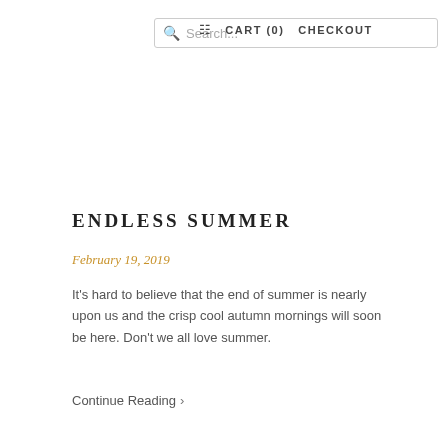Search...  CART (0)  CHECKOUT
ENDLESS SUMMER
February 19, 2019
It's hard to believe that the end of summer is nearly upon us and the crisp cool autumn mornings will soon be here. Don't we all love summer.
Continue Reading >